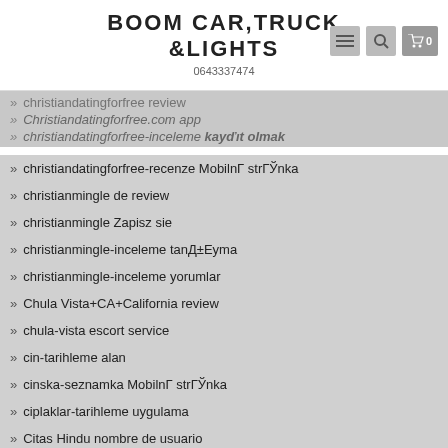BOOM CAR,TRUCK &LIGHTS
0643337474
christiandatingforfree review
Christiandatingforfree.com app
christiandatingforfree-inceleme kayıt olmak
christiandatingforfree-recenze Mobilní stránka
christianmingle de review
christianmingle Zapisz sie
christianmingle-inceleme tanД±Eуma
christianmingle-inceleme yorumlar
Chula Vista+CA+California review
chula-vista escort service
cin-tarihleme alan
cinska-seznamka Mobilní stránka
ciplaklar-tarihleme uygulama
Citas Hindu nombre de usuario
Citas Ruso nombre de usuario